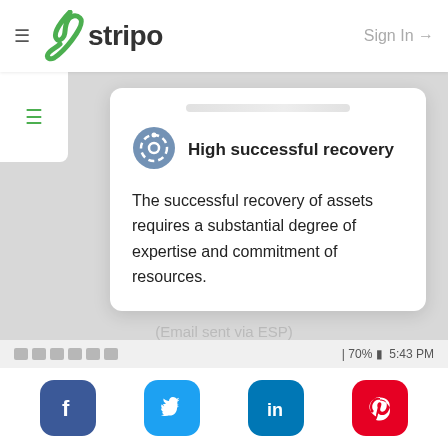[Figure (logo): Stripo logo with green lightning bolt icon and 'stripo' text in dark gray]
Sign In →
≡
High successful recovery
The successful recovery of assets requires a substantial degree of expertise and commitment of resources.
(Email sent via ESP)
[Figure (screenshot): Mobile status bar with app icons, 70% battery, 5:43 PM]
[Figure (infographic): Social media share buttons: Facebook, Twitter, LinkedIn, Pinterest]